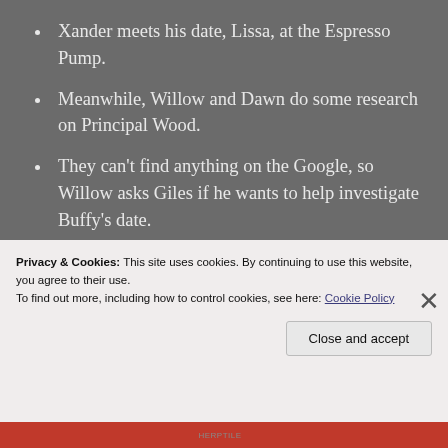Xander meets his date, Lissa, at the Espresso Pump.
Meanwhile, Willow and Dawn do some research on Principal Wood.
They can't find anything on the Google, so Willow asks Giles if he wants to help investigate Buffy's date.
Now Giles is angry that Buffy and Xander are going on dates when the end of the world is nigh.
Again… looking for conflict where there really doesn't need to be any.
Privacy & Cookies: This site uses cookies. By continuing to use this website, you agree to their use.
To find out more, including how to control cookies, see here: Cookie Policy
Close and accept